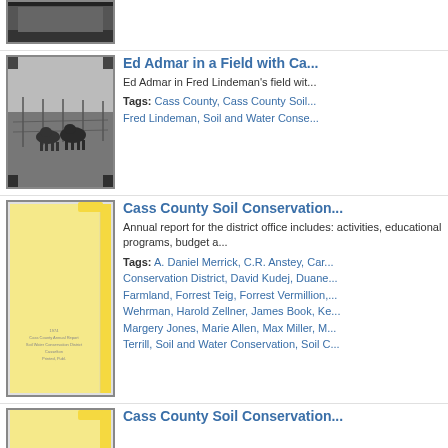[Figure (photo): Partial top image showing a black and white photograph, partially visible at top of page]
Ed Admar in a Field with Ca...
Ed Admar in Fred Lindeman's field wit...
Tags: Cass County, Cass County Soil..., Fred Lindeman, Soil and Water Conse...
[Figure (photo): Black and white photograph of cattle grazing in a field with fence posts visible]
[Figure (photo): Yellow manila folder document cover with text on it]
Cass County Soil Conservation...
Annual report for the district office includes: activities, educational programs, budget a...
Tags: A. Daniel Merrick, C.R. Anstey, Car... Conservation District, David Kudej, Duane... Farmland, Forrest Teig, Forrest Vermillion,... Wehrman, Harold Zellner, James Book, Ke... Margery Jones, Marie Allen, Max Miller, M... Terrill, Soil and Water Conservation, Soil C...
Cass County Soil Conservation...
[Figure (photo): Yellow manila folder document cover, partially visible at bottom of page]